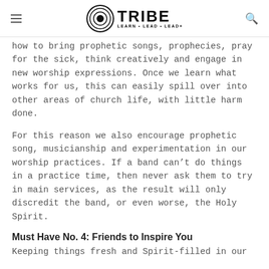TRIBE LEARN • LEAD • LEAD+
how to bring prophetic songs, prophecies, pray for the sick, think creatively and engage in new worship expressions. Once we learn what works for us, this can easily spill over into other areas of church life, with little harm done.
For this reason we also encourage prophetic song, musicianship and experimentation in our worship practices. If a band can't do things in a practice time, then never ask them to try in main services, as the result will only discredit the band, or even worse, the Holy Spirit.
Must Have No. 4: Friends to Inspire You
Keeping things fresh and Spirit-filled in our